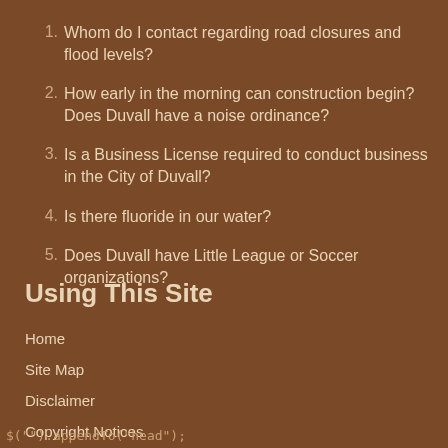1. Whom do I contact regarding road closures and flood levels?
2. How early in the morning can construction begin? Does Duvall have a noise ordinance?
3. Is a Business License required to conduct business in the City of Duvall?
4. Is there fluoride in our water?
5. Does Duvall have Little League or Soccer organizations?
Using This Site
Home
Site Map
Disclaimer
Copyright Notices
Government Websites by CivicPlus®
$(""}).appendTo("head");